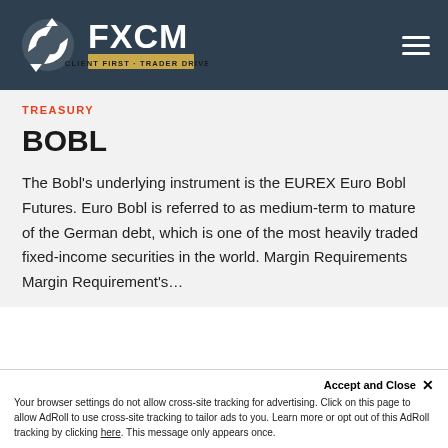FXCM — CLIENT FIRST · TRADER DRIVEN
TREASURY
BOBL
The Bobl's underlying instrument is the EUREX Euro Bobl Futures. Euro Bobl is referred to as medium-term to mature of the German debt, which is one of the most heavily traded fixed-income securities in the world. Margin Requirements Margin Requirement's...
Accept and Close ✕
Your browser settings do not allow cross-site tracking for advertising. Click on this page to allow AdRoll to use cross-site tracking to tailor ads to you. Learn more or opt out of this AdRoll tracking by clicking here. This message only appears once.